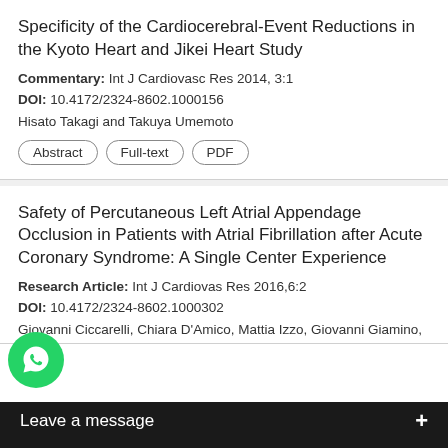Specificity of the Cardiocerebral-Event Reductions in the Kyoto Heart and Jikei Heart Study
Commentary: Int J Cardiovasc Res 2014, 3:1
DOI: 10.4172/2324-8602.1000156
Hisato Takagi and Takuya Umemoto
Abstract | Full-text | PDF
Safety of Percutaneous Left Atrial Appendage Occlusion in Patients with Atrial Fibrillation after Acute Coronary Syndrome: A Single Center Experience
Research Article: Int J Cardiovas Res 2016,6:2
DOI: 10.4172/2324-8602.1000302
Giovanni Ciccarelli, Chiara D'Amico, Mattia Izzo, Giovanni Giamino, Alberto Morello and Paolo Golino
Abstract | Full-text | PDF
Den…